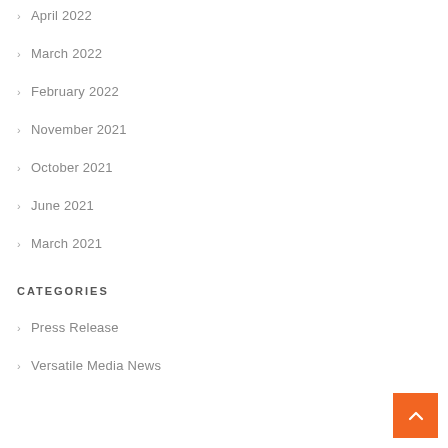April 2022
March 2022
February 2022
November 2021
October 2021
June 2021
March 2021
CATEGORIES
Press Release
Versatile Media News